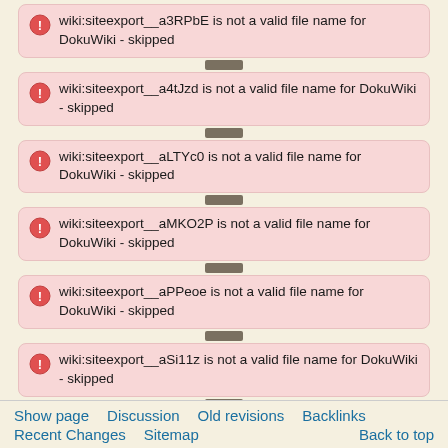wiki:siteexport__a3RPbE is not a valid file name for DokuWiki - skipped
wiki:siteexport__a4tJzd is not a valid file name for DokuWiki - skipped
wiki:siteexport__aLTYc0 is not a valid file name for DokuWiki - skipped
wiki:siteexport__aMKO2P is not a valid file name for DokuWiki - skipped
wiki:siteexport__aPPeoe is not a valid file name for DokuWiki - skipped
wiki:siteexport__aSi11z is not a valid file name for DokuWiki - skipped
wiki:siteexport__akxlnv is not a valid file name for DokuWiki - skipped
wiki:siteexport__al470o is not a valid file name for DokuWiki - skipped
Show page   Discussion   Old revisions   Backlinks   Recent Changes   Sitemap   Back to top